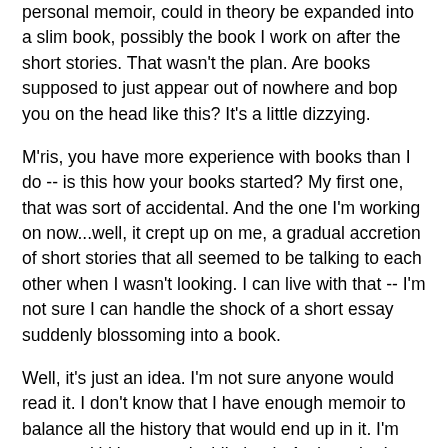personal memoir, could in theory be expanded into a slim book, possibly the book I work on after the short stories. That wasn't the plan. Are books supposed to just appear out of nowhere and bop you on the head like this? It's a little dizzying.
M'ris, you have more experience with books than I do -- is this how your books started? My first one, that was sort of accidental. And the one I'm working on now...well, it crept up on me, a gradual accretion of short stories that all seemed to be talking to each other when I wasn't looking. I can live with that -- I'm not sure I can handle the shock of a short essay suddenly blossoming into a book.
Well, it's just an idea. I'm not sure anyone would read it. I don't know that I have enough memoir to balance all the history that would end up in it. I'm not sure it'd be a worthwhile book. And maybe I need to be a lot older to write it properly, and need to spend a lot more time in Sri Lanka. Though I could...